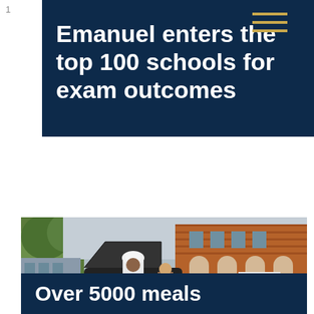Emanuel enters the top 100 schools for exam outcomes
[Figure (photo): A chef in white uniform and hat standing next to a person beside a vehicle with an open boot, in front of a red brick building.]
Over 5000 meals